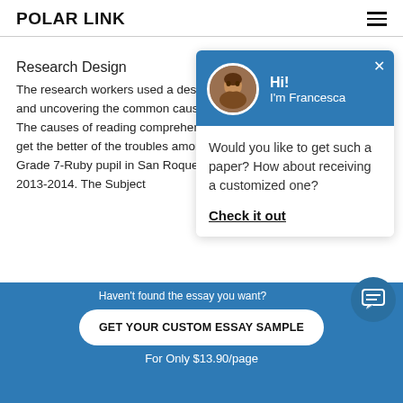POLAR LINK
Research Design
The research workers used [...]  and uncovering the commo[...] The causes of reading comp[...] to get the better of the trouble[...] Grade 7-Ruby pupil in San R[...] 2013-2014. The Subject
The respondents of this sun[...] of
[Figure (screenshot): Chat popup with avatar of Francesca, greeting 'Hi! I'm Francesca', message 'Would you like to get such a paper? How about receiving a customized one?' and link 'Check it out']
Haven't found[...]
GET YOUR CUSTOM ESSAY SAMPLE
For Only $13.90/page